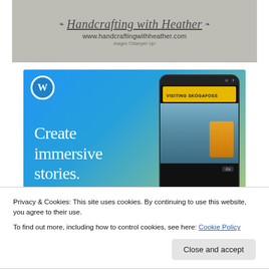[Figure (logo): Handcrafting with Heather website banner showing cursive logo text, decorative flourishes, website URL www.handcraftingwithheather.com, and 'Images ©Stampin' Up!' credit line on gray background.]
[Figure (screenshot): WordPress advertisement showing 'Create immersive stories.' text on blue gradient background with WordPress logo (W) and a smartphone displaying a travel story 'VISITING SKÓGAFOSS' with a waterfall image and person in yellow jacket.]
Privacy & Cookies: This site uses cookies. By continuing to use this website, you agree to their use.
To find out more, including how to control cookies, see here: Cookie Policy